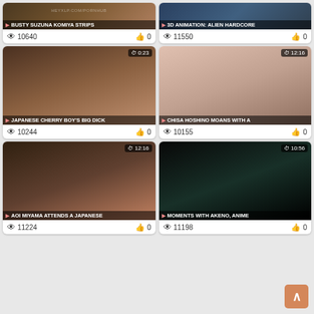[Figure (screenshot): Video thumbnail grid showing adult video website with 6 video cards in 2 columns]
BUSTY SUZUNA KOMIYA STRIPS — 10640 views, 0 likes
3D ANIMATION: ALIEN HARDCORE — 11550 views, 0 likes
JAPANESE CHERRY BOY'S BIG DICK — 0:23 — 10244 views, 0 likes
CHISA HOSHINO MOANS WITH A — 12:16 — 10155 views, 0 likes
AOI MIYAMA ATTENDS A JAPANESE — 12:16 — 11224 views, 0 likes
MOMENTS WITH AKENO, ANIME — 10:56 — 11198 views, 0 likes